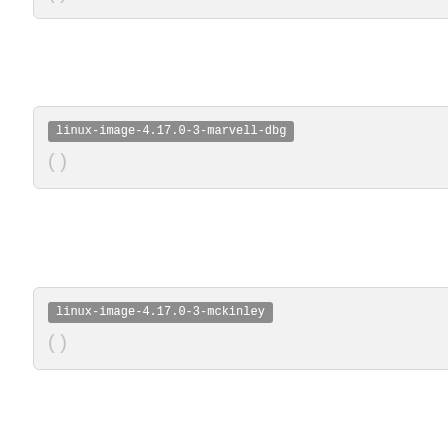linux-image-4.17.0-3-marvell-dbg
( )
linux-image-4.17.0-3-mckinley
( )
linux-image-4.17.0-3-mckinley-dbg
( )
linux-image-4.17.0-3-mips32r6
( )
linux-image-4.17.0-3-mips32r6-dbg
( )